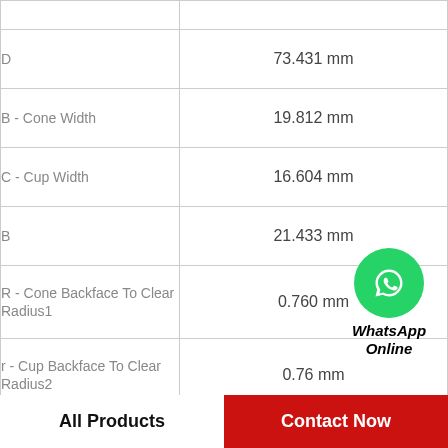| Parameter | Value |
| --- | --- |
| D | 73.431 mm |
| B - Cone Width | 19.812 mm |
| C - Cup Width | 16.604 mm |
| B | 21.433 mm |
| R - Cone Backface To Clear Radius1 | 0.760 mm |
| r - Cup Backface To Clear Radius2 | 0.76 mm |
| da - Cone Frontface Backing Diameter | 46.48 mm |
[Figure (logo): WhatsApp Online button with green circle phone icon and bold italic text]
All Products   Contact Now